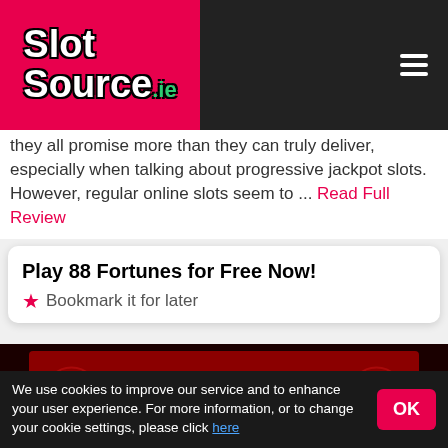SlotSource.ie
they all promise more than they can truly deliver, especially when talking about progressive jackpot slots. However, regular online slots seem to ... Read Full Review
Play 88 Fortunes for Free Now!
★ Bookmark it for later
[Figure (screenshot): Game preview area with dark red background showing '88 Fortunes' slot game with message 'You must be 18+ to play this demo.']
We use cookies to improve our service and to enhance your user experience. For more information, or to change your cookie settings, please click here